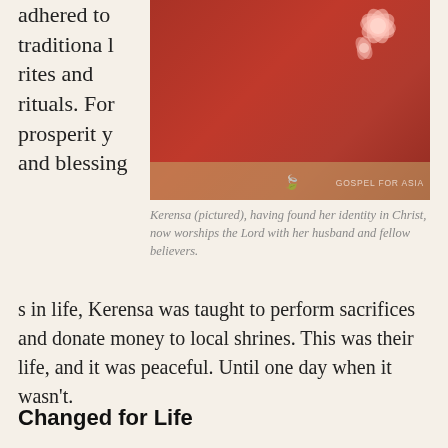adhered to traditional rites and rituals. For prosperity and blessings in life, Kerensa was taught to perform sacrifices and donate money to local shrines. This was their life, and it was peaceful. Until one day when it wasn't.
[Figure (photo): A woman in a red embroidered garment standing outdoors on sandy ground. Gospel for Asia watermark visible.]
Kerensa (pictured), having found her identity in Christ, now worships the Lord with her husband and fellow believers.
Changed for Life